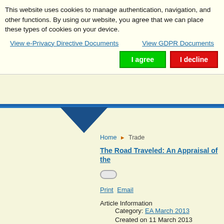This website uses cookies to manage authentication, navigation, and other functions. By using our website, you agree that we can place these types of cookies on your device.
View e-Privacy Directive Documents   View GDPR Documents
I agree   I decline
Home ▶ Trade
The Road Traveled: An Appraisal of the
Print  Email
Article Information
Category: EA March 2013
Created on 11 March 2013
Editor's Note:  As the European U... Investment Partnership, European ... assess the implications of this histor...